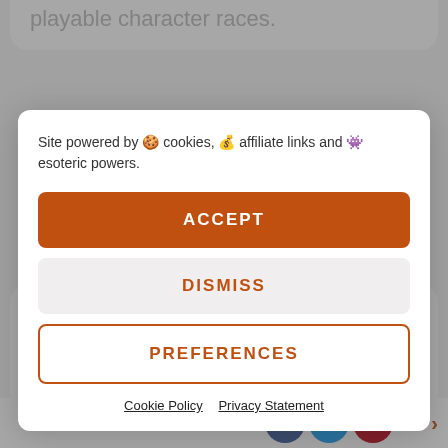playable character races.
Site powered by 🍪 cookies, 💰 affiliate links and 👾 esoteric powers.
ACCEPT
DISMISS
PREFERENCES
Cookie Policy   Privacy Statement
Favor: Half-orcs
Publisher: Bad Axe
Games Series: d20
Reviewer: